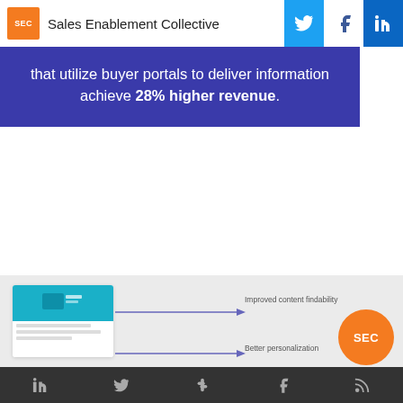Sales Enablement Collective
that utilize buyer portals to deliver information achieve 28% higher revenue.
Again, the buyer portal delivers you improved content findability for your customers, better personalization, and you can use it across the whole customer journey.
[Figure (screenshot): Screenshot of a buyer portal interface showing improved content findability and better personalization labels with arrows pointing right, and a SEC orange circle logo.]
Social media icons: LinkedIn, Twitter, Slack, Facebook, RSS